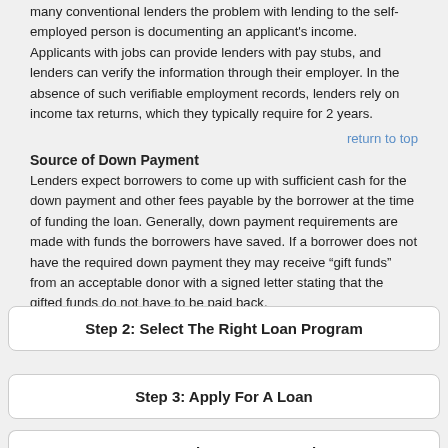many conventional lenders the problem with lending to the self-employed person is documenting an applicant's income. Applicants with jobs can provide lenders with pay stubs, and lenders can verify the information through their employer. In the absence of such verifiable employment records, lenders rely on income tax returns, which they typically require for 2 years.
return to top
Source of Down Payment
Lenders expect borrowers to come up with sufficient cash for the down payment and other fees payable by the borrower at the time of funding the loan. Generally, down payment requirements are made with funds the borrowers have saved. If a borrower does not have the required down payment they may receive “gift funds” from an acceptable donor with a signed letter stating that the gifted funds do not have to be paid back.
return to top
Step 2: Select The Right Loan Program
Step 3: Apply For A Loan
Step 4: Begin Loan Processing